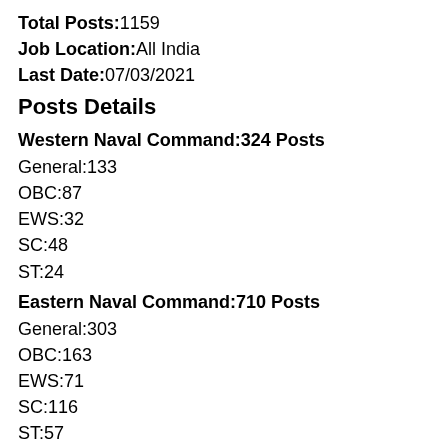Total Posts:1159
Job Location:All India
Last Date:07/03/2021
Posts Details
Western Naval Command:324 Posts
General:133
OBC:87
EWS:32
SC:48
ST:24
Eastern Naval Command:710 Posts
General:303
OBC:163
EWS:71
SC:116
ST:57
Southern Naval Command:125 Posts
General:57
OBC:37
EWS:13
SC:16
ST:02